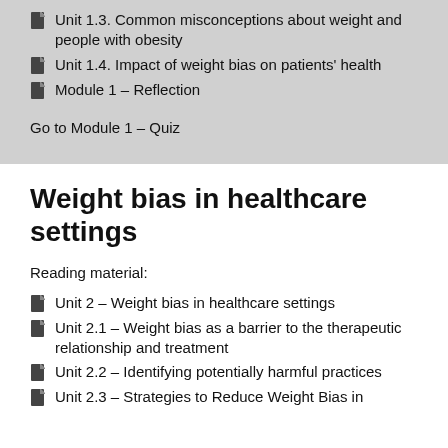Unit 1.3. Common misconceptions about weight and people with obesity
Unit 1.4. Impact of weight bias on patients' health
Module 1 – Reflection
Go to Module 1 – Quiz
Weight bias in healthcare settings
Reading material:
Unit 2 – Weight bias in healthcare settings
Unit 2.1 – Weight bias as a barrier to the therapeutic relationship and treatment
Unit 2.2 – Identifying potentially harmful practices
Unit 2.3 – Strategies to Reduce Weight Bias in